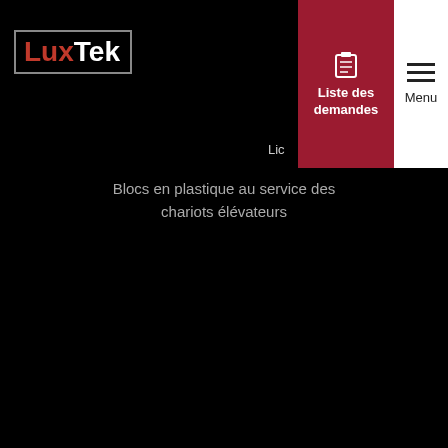[Figure (logo): LuxTek logo: 'Lux' in red and 'Tek' in white, inside a grey rectangular border, on black background]
[Figure (infographic): Navigation button: red background with clipboard icon and text 'Liste des demandes']
[Figure (infographic): Navigation button: white background with hamburger menu icon and text 'Menu']
Blocs en plastique au service des chariots élévateurs